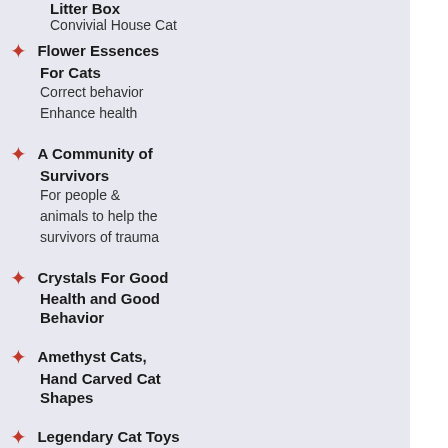Litter Box
Convivial House Cat
Flower Essences For Cats
Correct behavior
Enhance health
A Community of Survivors
For people & animals to help the survivors of trauma
Crystals For Good Health and Good Behavior
Amethyst Cats, Hand Carved Cat Shapes
Legendary Cat Toys
Unique designs
American made
Organic
deformity, rescued by …
Posted on January 29, 2014 by Cat Faerie
Meet Stockings, a kitten who was born with… playing and acting like a kitten. He was res… Chicago. Here's a heartwarming article a…
Tomorrow we'll post another heartwarming… after a series of surgeries.
[Figure (screenshot): Video thumbnail with black background showing a green circle with letter L and text 'Stockings, the kitten']